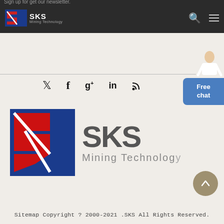Sign up for our newsletter.
[Figure (logo): SKS Mining Technology logo in header bar]
[Figure (illustration): Social media icons: Twitter, Facebook, Google+, LinkedIn, RSS]
[Figure (logo): SKS Mining Technology large logo with red/blue geometric S mark and gray text]
Sitemap Copyright ? 2000-2021 .SKS All Rights Reserved.